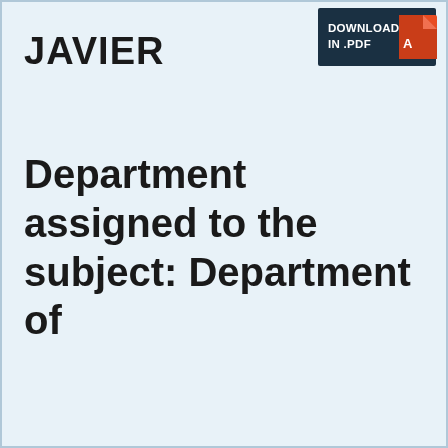JAVIER
[Figure (other): Download in PDF button with Adobe PDF icon on dark navy background]
Department assigned to the subject: Department of